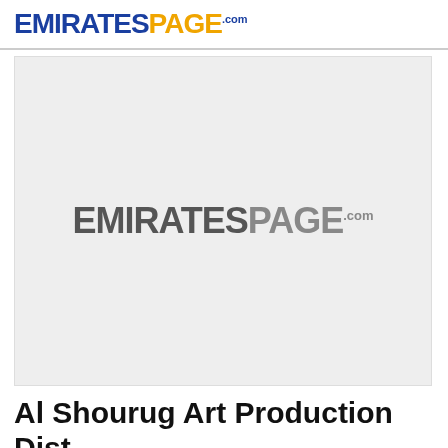EMIRATESPAGE.com
[Figure (logo): EmiratesPage.com logo placeholder image, gray scale version of the site logo on a light gray background]
Al Shourug Art Production Dist